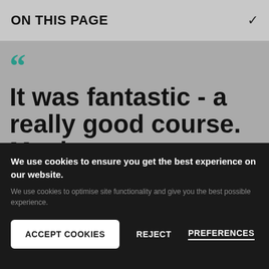ON THIS PAGE
It was fantastic - a really good course. My degree was essential in helping me to get a full-time job
We use cookies to ensure you get the best experience on our website.
We use cookies to optimise site functionality and give you the best possible experience.
ACCEPT COOKIES
REJECT
PREFERENCES